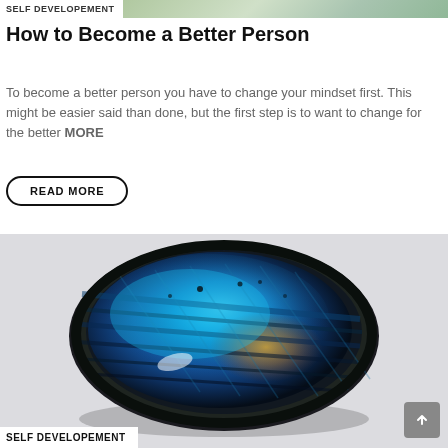SELF DEVELOPEMENT
How to Become a Better Person
To become a better person you have to change your mindset first. This might be easier said than done, but the first step is to want to change for the better MORE
READ MORE
[Figure (photo): A polished labradorite stone with vivid blue iridescent streaks on a light grey background]
SELF DEVELOPEMENT